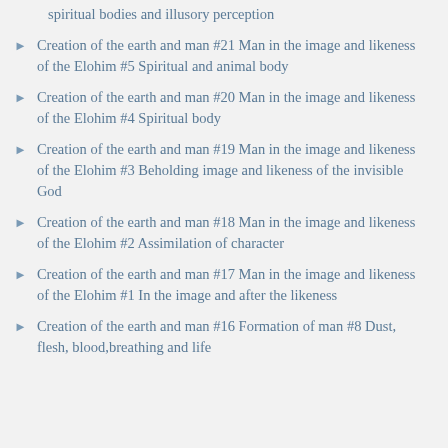spiritual bodies and illusory perception
Creation of the earth and man #21 Man in the image and likeness of the Elohim #5 Spiritual and animal body
Creation of the earth and man #20 Man in the image and likeness of the Elohim #4 Spiritual body
Creation of the earth and man #19 Man in the image and likeness of the Elohim #3 Beholding image and likeness of the invisible God
Creation of the earth and man #18 Man in the image and likeness of the Elohim #2 Assimilation of character
Creation of the earth and man #17 Man in the image and likeness of the Elohim #1 In the image and after the likeness
Creation of the earth and man #16 Formation of man #8 Dust, flesh, blood,breathing and life